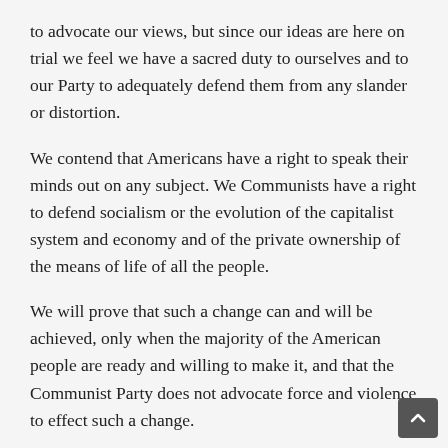to advocate our views, but since our ideas are here on trial we feel we have a sacred duty to ourselves and to our Party to adequately defend them from any slander or distortion.
We contend that Americans have a right to speak their minds out on any subject. We Communists have a right to defend socialism or the evolution of the capitalist system and economy and of the private ownership of the means of life of all the people.
We will prove that such a change can and will be achieved, only when the majority of the American people are ready and willing to make it, and that the Communist Party does not advocate force and violence to effect such a change.
We will try to prove to you during this trial the meaning of working class internationalism, which the Government will use to bolster up their theory of foreign agent.